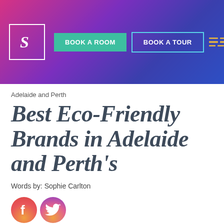[Figure (screenshot): Website header navigation bar with gradient purple-pink background, logo with 'S', 'BOOK A ROOM' green button, 'BOOK A TOUR' outlined button, and hamburger menu icon]
Adelaide and Perth
Best Eco-Friendly Brands in Adelaide and Perth's
Words by: Sophie Carlton
[Figure (illustration): Facebook and Twitter social media icon buttons]